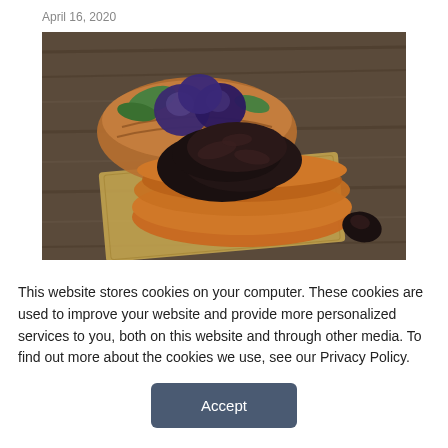April 16, 2020
[Figure (photo): A bowl of dried prunes (dried plums) on a wooden table with a wicker basket of fresh plums in the background]
The 'Dried Plum Effect' on Post-SCI Bone Loss
This website stores cookies on your computer. These cookies are used to improve your website and provide more personalized services to you, both on this website and through other media. To find out more about the cookies we use, see our Privacy Policy.
Accept